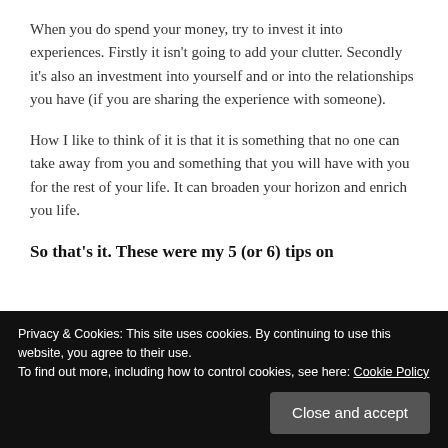When you do spend your money, try to invest it into experiences. Firstly it isn't going to add your clutter. Secondly it's also an investment into yourself and or into the relationships you have (if you are sharing the experience with someone).
How I like to think of it is that it is something that no one can take away from you and something that you will have with you for the rest of your life. It can broaden your horizon and enrich you life.
So that's it. These were my 5 (or 6) tips on
Love,
Privacy & Cookies: This site uses cookies. By continuing to use this website, you agree to their use.
To find out more, including how to control cookies, see here: Cookie Policy